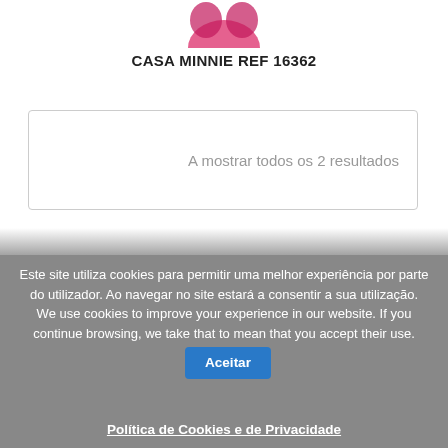[Figure (logo): Partial logo graphic at the top, pink/magenta colored shape]
CASA MINNIE REF 16362
A mostrar todos os 2 resultados
Este site utiliza cookies para permitir uma melhor experiência por parte do utilizador. Ao navegar no site estará a consentir a sua utilização.
We use cookies to improve your experience in our website. If you continue browsing, we take that to mean that you accept their use.
Aceitar
Política de Cookies e de Privacidade